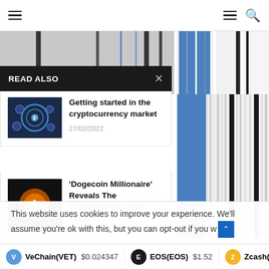Navigation bar with hamburger menu and search icon
[Figure (illustration): Partial view of a cryptocurrency-related graphic with vertical stripes in blue, gray, and black]
READ ALSO
[Figure (photo): Cryptocurrency market illustration with circular icons and digital background]
Getting started in the cryptocurrency market
27/02/2022
[Figure (photo): Bitcoin coin glowing orange against dark background with charts]
'Dogecoin Millionaire' Reveals The Cryptocurrency He Predicts
This website uses cookies to improve your experience. We'll assume you're ok with this, but you can opt-out if you w
VeChain(VET) $0.024347    EOS(EOS) $1.52    Zcash(Z